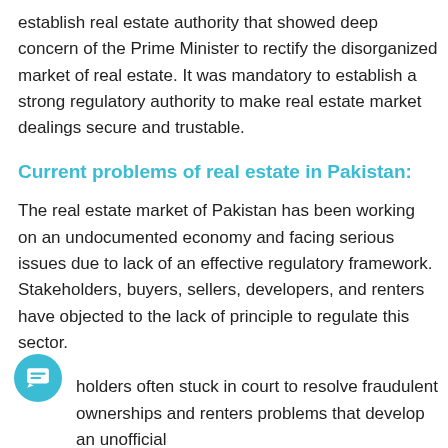establish real estate authority that showed deep concern of the Prime Minister to rectify the disorganized market of real estate. It was mandatory to establish a strong regulatory authority to make real estate market dealings secure and trustable.
Current problems of real estate in Pakistan:
The real estate market of Pakistan has been working on an undocumented economy and facing serious issues due to lack of an effective regulatory framework.  Stakeholders, buyers, sellers, developers, and renters have objected to the lack of principle to regulate this sector.
Stakeholders often stuck in court to resolve fraudulent ownerships and renters problems that develop an unofficial